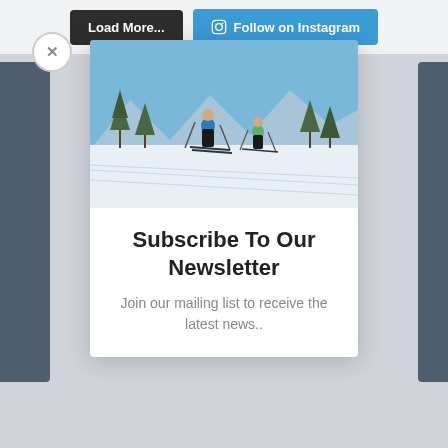[Figure (screenshot): UI screenshot showing a modal popup with 'Load More...' and 'Follow on Instagram' buttons at top, a close (X) button, a cross-country skiing photo, and a newsletter subscription call-to-action.]
Load More...
Follow on Instagram
[Figure (photo): Two cross-country skiers on a snowy trail with trees and mountains in the background under a clear blue sky.]
Subscribe To Our Newsletter
Join our mailing list to receive the latest news..